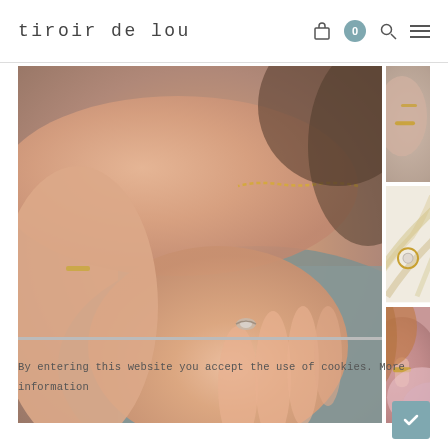tiroir de lou
[Figure (photo): Main large photo of hands wearing jewelry - a gold chain bracelet and a stone ring - resting on a gray surface]
[Figure (photo): Small side photo top: hand with rings resting on gray surface]
[Figure (photo): Small side photo middle: gold ring with stone on white background with dried golden plants]
[Figure (photo): Small side photo bottom: hand wearing ring with pink/purple fabric]
By entering this website you accept the use of cookies. More information